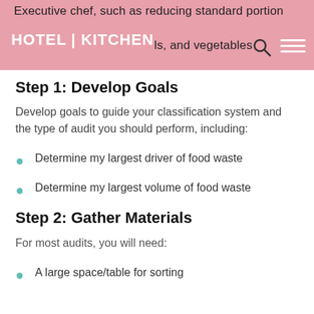Executive chef, such as reducing standard portion HOTEL | KITCHEN ls, and vegetables
Step 1: Develop Goals
Develop goals to guide your classification system and the type of audit you should perform, including:
Determine my largest driver of food waste
Determine my largest volume of food waste
Step 2: Gather Materials
For most audits, you will need:
A large space/table for sorting